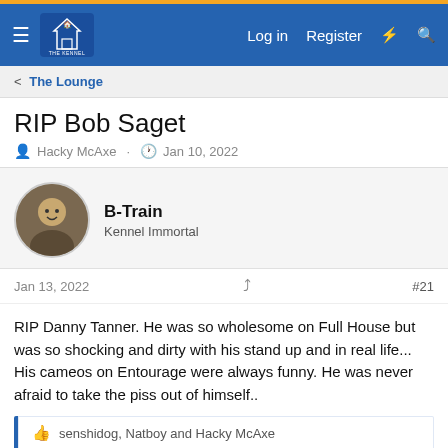The Kennel — Log in  Register
< The Lounge
RIP Bob Saget
Hacky McAxe · Jan 10, 2022
B-Train
Kennel Immortal
Jan 13, 2022  #21
RIP Danny Tanner. He was so wholesome on Full House but was so shocking and dirty with his stand up and in real life... His cameos on Entourage were always funny. He was never afraid to take the piss out of himself..
senshidog, Natboy and Hacky McAxe
Flanagun